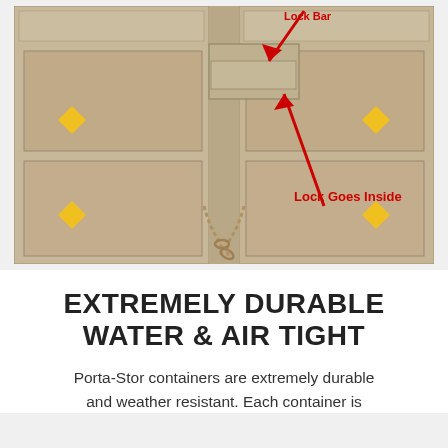[Figure (photo): Close-up photograph of a tan/beige metal storage container door with a chain lock. Red arrows and red text annotations point to features: one arrow points down toward the top locking mechanism (partially cut off text at top), and another arrow points up to the lock box with the label 'Lock Goes Inside'. Yellow diamond-shaped stickers are visible on the container panels.]
EXTREMELY DURABLE WATER & AIR TIGHT
Porta-Stor containers are extremely durable and weather resistant. Each container is